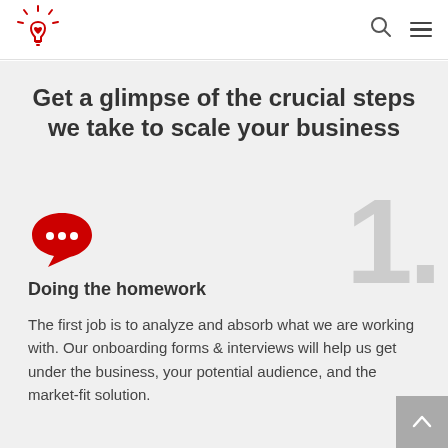Logo and navigation bar with search and menu icons
Get a glimpse of the crucial steps we take to scale your business
[Figure (illustration): Red speech bubble icon with three white dots (chat/comment icon)]
[Figure (illustration): Large light gray number '1.' watermark in background]
Doing the homework
The first job is to analyze and absorb what we are working with. Our onboarding forms & interviews will help us get under the business, your potential audience, and the market-fit solution.